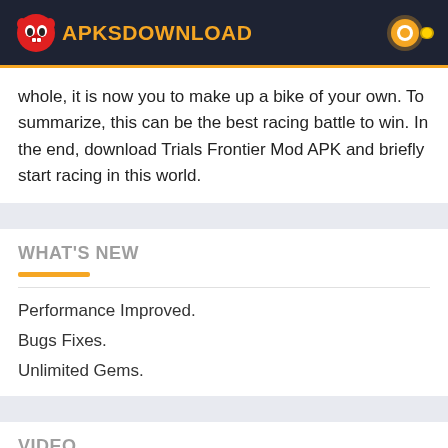APKSDOWNLOAD
whole, it is now you to make up a bike of your own. To summarize, this can be the best racing battle to win. In the end, download Trials Frontier Mod APK and briefly start racing in this world.
WHAT'S NEW
Performance Improved.
Bugs Fixes.
Unlimited Gems.
VIDEO
[Figure (screenshot): Dark video thumbnail placeholder at the bottom of the page]